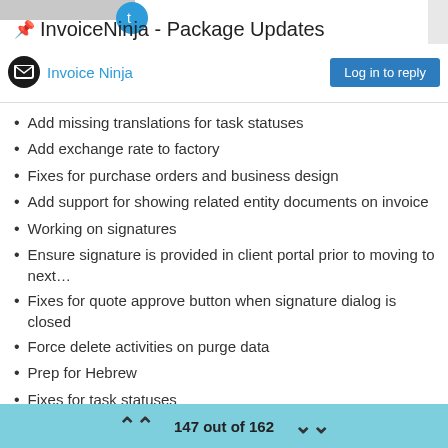InvoiceNinja - Package Updates
Invoice Ninja
Add missing translations for task statuses
Add exchange rate to factory
Fixes for purchase orders and business design
Add support for showing related entity documents on invoice
Working on signatures
Ensure signature is provided in client portal prior to moving to next…
Fixes for quote approve button when signature dialog is closed
Force delete activities on purge data
Prep for Hebrew
Fixes for task statuses
Add hebrew to repo
Client include for expenses
Vendor include for expenses
Fixes for vendors
147 out of 162